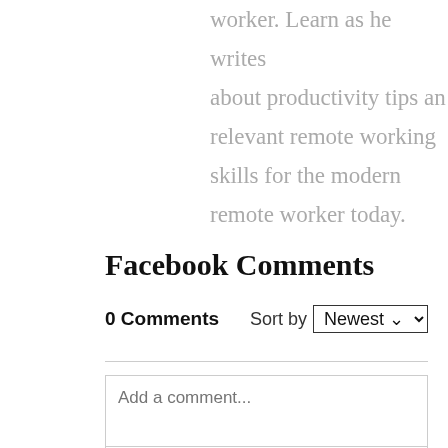worker. Learn as he writes about productivity tips and relevant remote working skills for the modern remote worker today.
Facebook Comments
0 Comments   Sort by Newest
Add a comment...